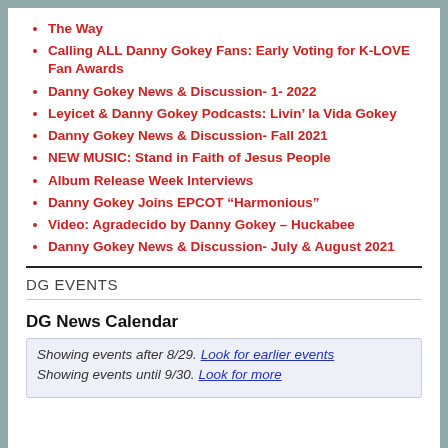The Way
Calling ALL Danny Gokey Fans: Early Voting for K-LOVE Fan Awards
Danny Gokey News & Discussion- 1- 2022
Leyicet & Danny Gokey Podcasts: Livin' la Vida Gokey
Danny Gokey News & Discussion- Fall 2021
NEW MUSIC: Stand in Faith of Jesus People
Album Release Week Interviews
Danny Gokey Joins EPCOT “Harmonious”
Video: Agradecido by Danny Gokey – Huckabee
Danny Gokey News & Discussion- July & August 2021
DG EVENTS
DG News Calendar
Showing events after 8/29. Look for earlier events
Showing events until 9/30. Look for more